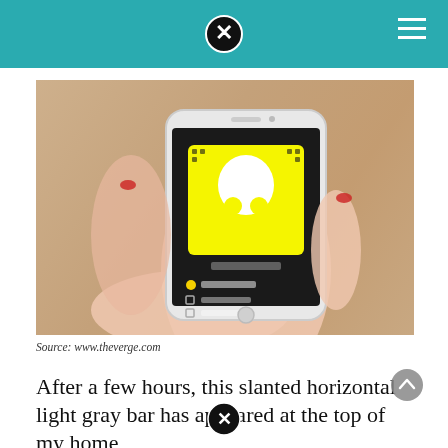[Figure (photo): A hand holding a white iPhone displaying the Snapchat app profile screen with ghost logo and yellow Snapcode, showing options like 'Added Me', 'Add Friends', and 'My Contacts'. Wooden table background.]
Source: www.theverge.com
After a few hours, this slanted horizontal light gray bar has appeared at the top of my home